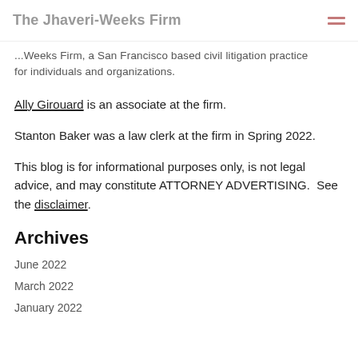The Jhaveri-Weeks Firm
...Weeks Firm, a San Francisco based civil litigation practice for individuals and organizations.
Ally Girouard is an associate at the firm.
Stanton Baker was a law clerk at the firm in Spring 2022.
This blog is for informational purposes only, is not legal advice, and may constitute ATTORNEY ADVERTISING.  See the disclaimer.
Archives
June 2022
March 2022
January 2022